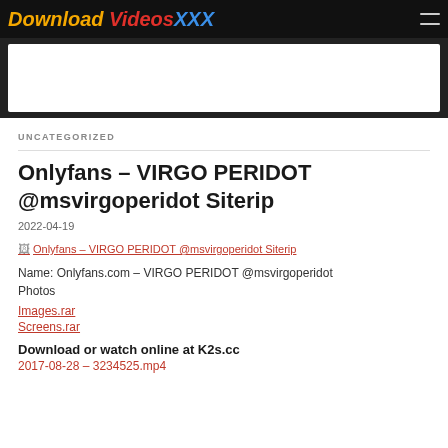Download VideosXXX
[Figure (other): Advertisement banner placeholder (white rectangle on dark background)]
UNCATEGORIZED
Onlyfans – VIRGO PERIDOT @msvirgoperidot Siterip
2022-04-19
[Figure (other): Broken image thumbnail link: Onlyfans – VIRGO PERIDOT @msvirgoperidot Siterip]
Name: Onlyfans.com – VIRGO PERIDOT @msvirgoperidot
Photos
Images.rar
Screens.rar
Download or watch online at K2s.cc
2017-08-28 – 3234525.mp4